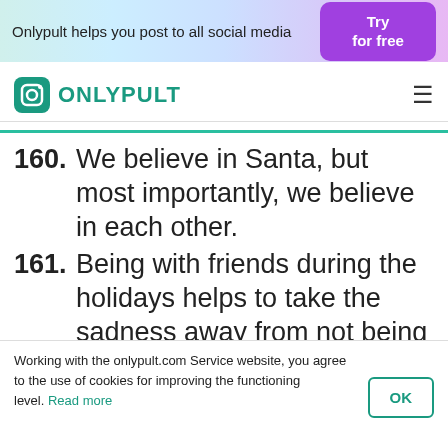Onlypult helps you post to all social media  |  Try for free
ONLYPULT
160. We believe in Santa, but most importantly, we believe in each other.
161. Being with friends during the holidays helps to take the sadness away from not being at home.
162. Grab your closest friends, dress up in Christmas outfits, and embrace
Working with the onlypult.com Service website, you agree to the use of cookies for improving the functioning level. Read more